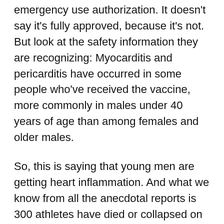emergency use authorization. It doesn't say it's fully approved, because it's not. But look at the safety information they are recognizing: Myocarditis and pericarditis have occurred in some people who've received the vaccine, more commonly in males under 40 years of age than among females and older males.
So, this is saying that young men are getting heart inflammation. And what we know from all the anecdotal reports is 300 athletes have died or collapsed on the field, and children in schools have died of heart attacks. That's what's going on here.
[partial text cut off at bottom]